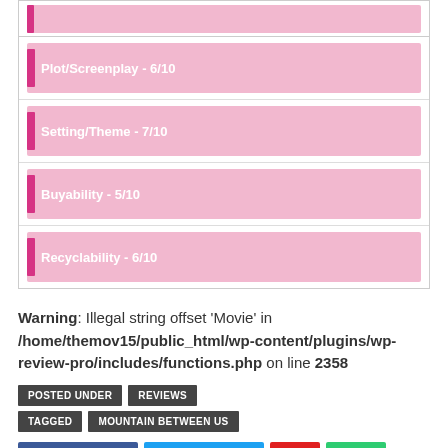[Figure (infographic): Rating bars showing scores: Plot/Screenplay 6/10, Setting/Theme 7/10, Buyability 5/10, Recyclability 6/10]
Warning: Illegal string offset 'Movie' in /home/themov15/public_html/wp-content/plugins/wp-review-pro/includes/functions.php on line 2358
POSTED UNDER | REVIEWS
TAGGED | MOUNTAIN BETWEEN US